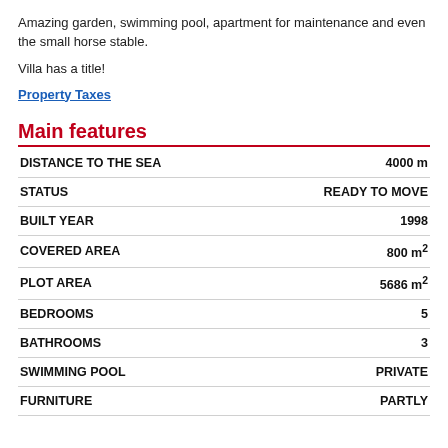Amazing garden, swimming pool, apartment for maintenance and even the small horse stable.
Villa has a title!
Property Taxes
Main features
| Feature | Value |
| --- | --- |
| DISTANCE TO THE SEA | 4000 m |
| STATUS | READY TO MOVE |
| BUILT YEAR | 1998 |
| COVERED AREA | 800 m² |
| PLOT AREA | 5686 m² |
| BEDROOMS | 5 |
| BATHROOMS | 3 |
| SWIMMING POOL | PRIVATE |
| FURNITURE | PARTLY |